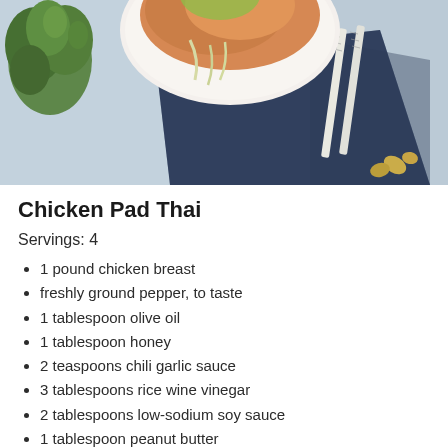[Figure (photo): Overhead photo of a bowl of Chicken Pad Thai noodles on a blue napkin with chopsticks, cilantro garnish, and scattered peanuts on a light gray surface.]
Chicken Pad Thai
Servings: 4
1 pound chicken breast
freshly ground pepper, to taste
1 tablespoon olive oil
1 tablespoon honey
2 teaspoons chili garlic sauce
3 tablespoons rice wine vinegar
2 tablespoons low-sodium soy sauce
1 tablespoon peanut butter
1/4 cup water
1 medium zucchini, spiralized (about 1 cup)